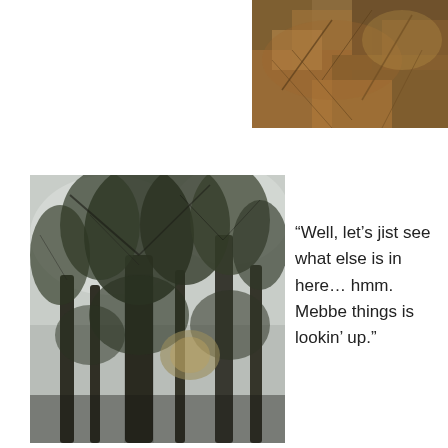[Figure (photo): Close-up photo of dried brown autumn leaves covering the ground, top-right corner of the page]
[Figure (photo): Upward-looking (worm's eye view) photograph through tall forest trees with bare and pine branches reaching toward a bright overcast sky]
“Well, let’s jist see what else is in here… hmm. Mebbe things is lookin’ up.”